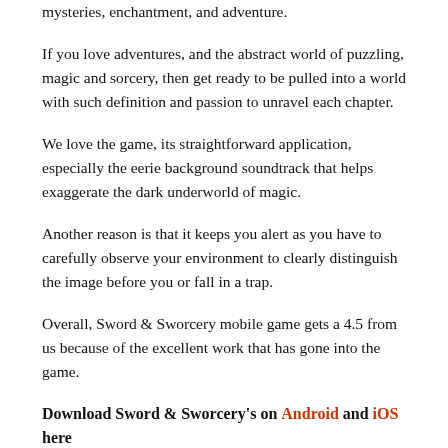mysteries, enchantment, and adventure.
If you love adventures, and the abstract world of puzzling, magic and sorcery, then get ready to be pulled into a world with such definition and passion to unravel each chapter.
We love the game, its straightforward application, especially the eerie background soundtrack that helps exaggerate the dark underworld of magic.
Another reason is that it keeps you alert as you have to carefully observe your environment to clearly distinguish the image before you or fall in a trap.
Overall, Sword & Sworcery mobile game gets a 4.5 from us because of the excellent work that has gone into the game.
Download Sword & Sworcery's on Android and iOS here
Mobile games are the biggest sellers in the video game market. In 2018, they grossed almost half of the total revenue